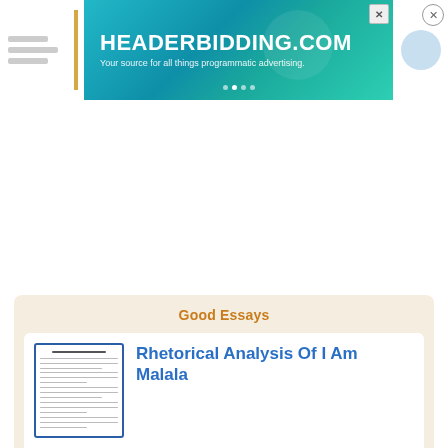[Figure (screenshot): HeaderBidding.com advertisement banner with teal/blue gradient background, text 'HEADERBIDDING.COM - Your source for all things programmatic advertising.']
Good Essays
Rhetorical Analysis Of I Am Malala